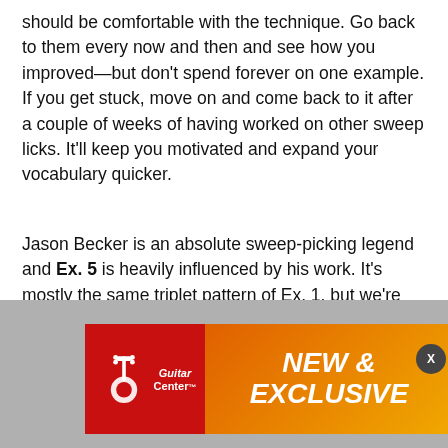should be comfortable with the technique. Go back to them every now and then and see how you improved—but don't spend forever on one example. If you get stuck, move on and come back to it after a couple of weeks of having worked on other sweep licks. It'll keep you motivated and expand your vocabulary quicker.
Jason Becker is an absolute sweep-picking legend and Ex. 5 is heavily influenced by his work. It's mostly the same triplet pattern of Ex. 1, but we're moving through different diatonic arpeggios in the key of D. Jason's trademark sweeps move through different inversions of the same arpeggio to create a sequenced or cascading sound. He often outlines specific triads on the top strings to create different harmonies. Here, I added an A major triad over the D chord in measure 1 and a D major triad over G to create
[Figure (other): Guitar Center advertisement banner with red and orange sections. Red section shows Guitar Center logo with guitar icon. Orange gradient section shows 'NEW & EXCLUSIVE' text in white bold italic. A close (X) button appears in the top right corner.]